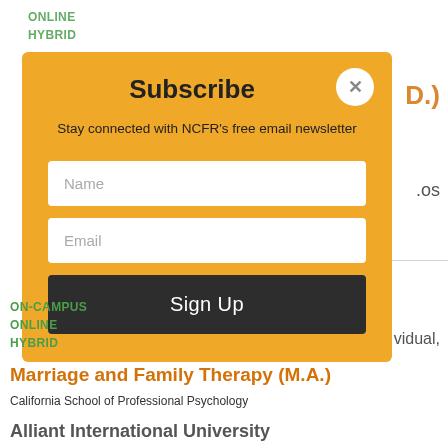ONLINE
HYBRID
[Figure (screenshot): Subscribe modal overlay with golden/orange background containing title 'Subscribe', close button (X), subtitle text 'Stay connected with NCFR's free email newsletter', Name input field, Email input field, and dark 'Sign Up' button]
ON-CAMPUS
ONLINE
HYBRID
Marriage and Family Therapy (M.A.)
California School of Professional Psychology
Alliant International University